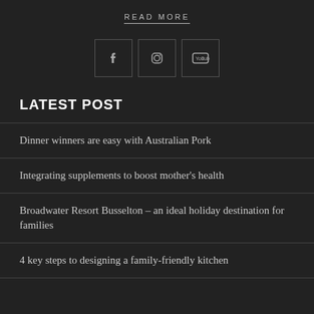edition.
READ MORE
[Figure (other): Three social media icon buttons: Facebook, Instagram, YouTube]
LATEST POST
Dinner winners are easy with Australian Pork
Integrating supplements to boost mother's health
Broadwater Resort Busselton – an ideal holiday destination for families
4 key steps to designing a family-friendly kitchen